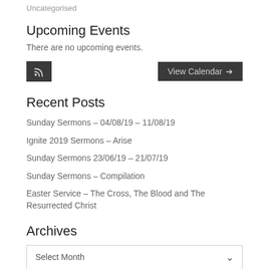Uncategorised
Upcoming Events
There are no upcoming events.
[Figure (other): RSS feed icon button and View Calendar button]
Recent Posts
Sunday Sermons – 04/08/19 – 11/08/19
Ignite 2019 Sermons – Arise
Sunday Sermons 23/06/19 – 21/07/19
Sunday Sermons – Compilation
Easter Service – The Cross, The Blood and The Resurrected Christ
Archives
Select Month